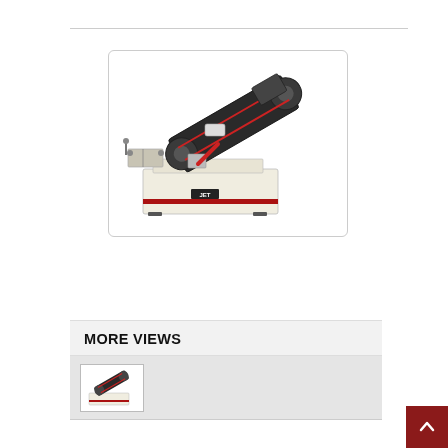[Figure (photo): JET horizontal band saw machine, cream/white colored base with dark saw head tilted at an angle, red accent stripe on base]
MORE VIEWS
[Figure (photo): Thumbnail image of the JET band saw machine from another angle]